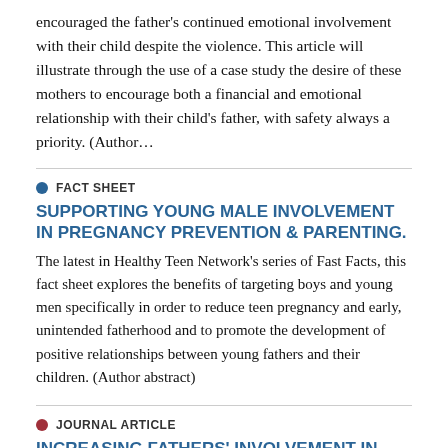encouraged the father's continued emotional involvement with their child despite the violence. This article will illustrate through the use of a case study the desire of these mothers to encourage both a financial and emotional relationship with their child's father, with safety always a priority. (Author…
FACT SHEET
SUPPORTING YOUNG MALE INVOLVEMENT IN PREGNANCY PREVENTION & PARENTING.
The latest in Healthy Teen Network's series of Fast Facts, this fact sheet explores the benefits of targeting boys and young men specifically in order to reduce teen pregnancy and early, unintended fatherhood and to promote the development of positive relationships between young fathers and their children. (Author abstract)
JOURNAL ARTICLE
INCREASING FATHERS' INVOLVEMENT IN CHILD…